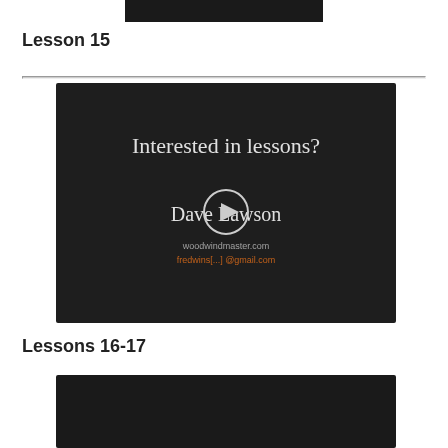[Figure (screenshot): Top portion of a dark video thumbnail cropped at top of page]
Lesson 15
[Figure (screenshot): Video thumbnail with dark background showing text 'Interested in lessons?' and 'Dave Lawson' with a circular play button, and contact URLs woodwindmaster.com and a gmail address]
Lessons 16-17
[Figure (screenshot): Bottom portion of another dark video thumbnail partially visible at bottom of page]